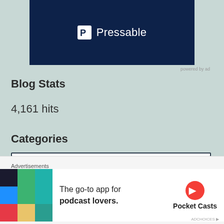[Figure (logo): Pressable logo on dark navy background banner]
Blog Stats
4,161 hits
Categories
Select Category
Latest Pixels
[Figure (infographic): Pocket Casts advertisement banner: The go-to app for podcast lovers.]